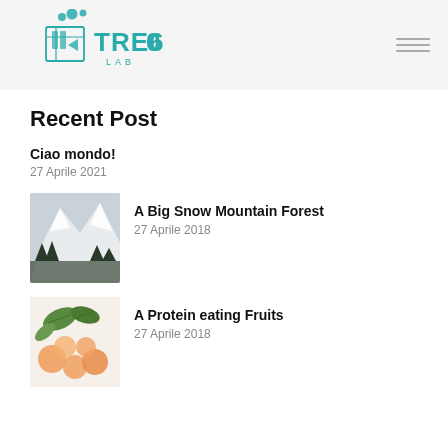TRE60 LAB logo and navigation
Recent Post
Ciao mondo!
27 Aprile 2021
[Figure (photo): Snow covered mountain forest, black and white landscape photo]
A Big Snow Mountain Forest
27 Aprile 2018
[Figure (photo): Peaches and green leaves on a white background, fruit photo]
A Protein eating Fruits
27 Aprile 2018